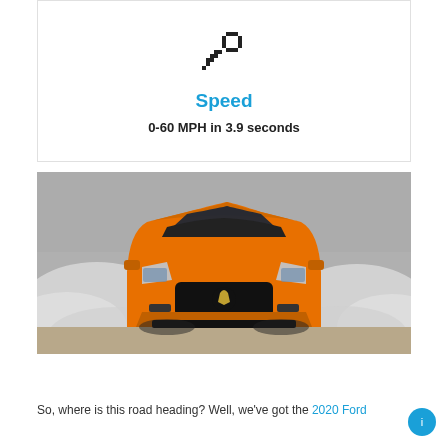[Figure (illustration): Car key icon (pixelated/emoji style) centered at top of card]
Speed
0-60 MPH in 3.9 seconds
[Figure (photo): Front view of an orange Ford Mustang GT doing a burnout with smoke billowing from the rear tires, photographed head-on]
So, where is this road heading? Well, we've got the 2020 Ford